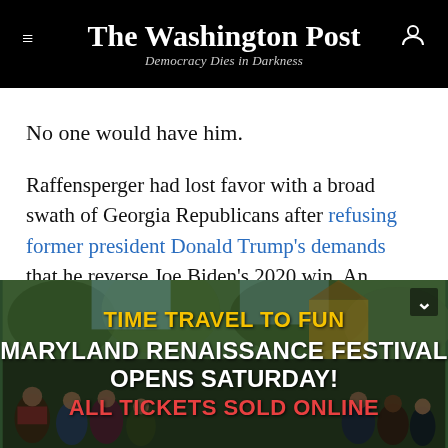The Washington Post — Democracy Dies in Darkness
No one would have him.
Raffensperger had lost favor with a broad swath of Georgia Republicans after refusing former president Donald Trump's demands that he reverse Joe Biden's 2020 win. An internal GOP poll showed that he could lose by as many as 40 points in a party primary.
On Tuesday, Raffensperger defeated his Trump-backed
[Figure (photo): Advertisement banner for Maryland Renaissance Festival with crowd in period costume. Text reads: TIME TRAVEL TO FUN / MARYLAND RENAISSANCE FESTIVAL / OPENS SATURDAY! / ALL TICKETS SOLD ONLINE]